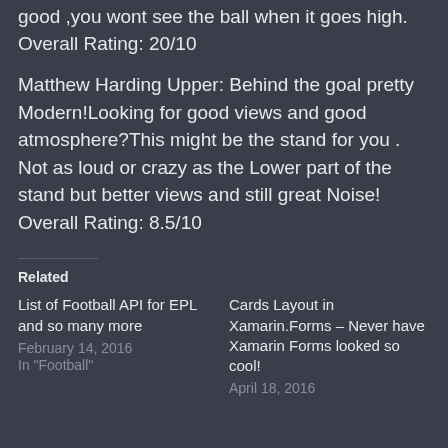good ,you wont see the ball when it goes high. Overall Rating: 20/10
Matthew Harding Upper: Behind the goal pretty Modern!Looking for good views and good atmosphere?This might be the stand for you . Not as loud or crazy as the Lower part of the stand but better views and still great Noise! Overall Rating: 8.5/10
Related
List of Football API for EPL and so many more
February 14, 2016
In "Football"
Cards Layout in Xamarin.Forms – Never have Xamarin Forms looked so cool!
April 18, 2016